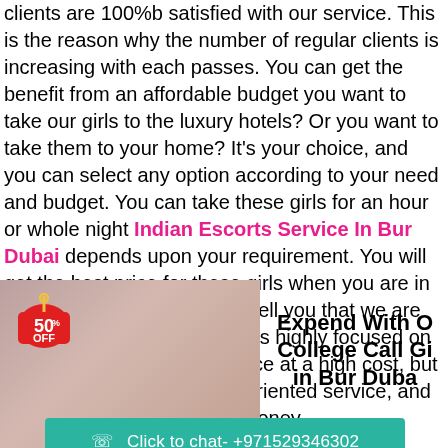clients are 100%b satisfied with our service. This is the reason why the number of regular clients is increasing with each passes. You can get the benefit from an affordable budget you want to take our girls to the luxury hotels? Or you want to take them to your home? It's your choice, and you can select any option according to your need and budget. You can take these girls for an hour or whole night Indian Escorts Service In Bur Dubai depends upon your requirement. You will get the best price for these girls when you are in contact with us. We want to tell you that we are not the kind of new firm that is highly focused on money and giving their service at a high cost, but we are providing customer-oriented service, and we know the value of your money.
[Figure (photo): Photo of a young woman with long dark hair, with a red 50% OFF price tag badge overlaid in the top-left corner]
Expend With Our College Call Girls in Bur Dubai
Click to chat- +971529346302
college girl? People always